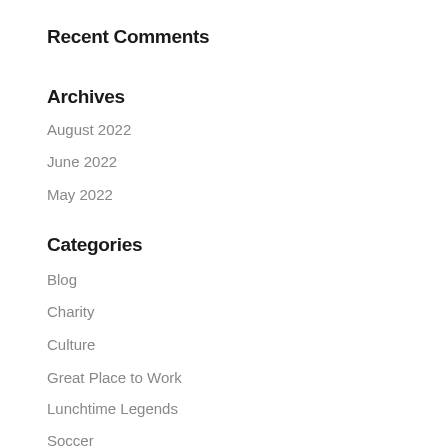Recent Comments
Archives
August 2022
June 2022
May 2022
Categories
Blog
Charity
Culture
Great Place to Work
Lunchtime Legends
Soccer
Uncategorized